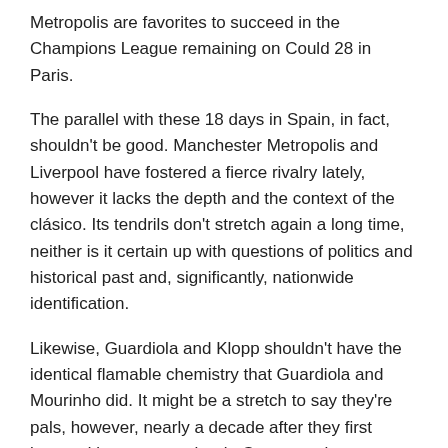Metropolis are favorites to succeed in the Champions League remaining on Could 28 in Paris.
The parallel with these 18 days in Spain, in fact, shouldn't be good. Manchester Metropolis and Liverpool have fostered a fierce rivalry lately, however it lacks the depth and the context of the clásico. Its tendrils don't stretch again a long time, neither is it certain up with questions of politics and historical past and, significantly, nationwide identification.
Likewise, Guardiola and Klopp shouldn't have the identical flamable chemistry that Guardiola and Mourinho did. It might be a stretch to say they're pals, however, nearly a decade after they first bumped into one another in Germany, they continue to be cordial. In 2020, Guardiola referred to as Klopp within the small hours of the morning to congratulate him on successful the Premier League. Klopp describes Guardiola as the best coach in the world